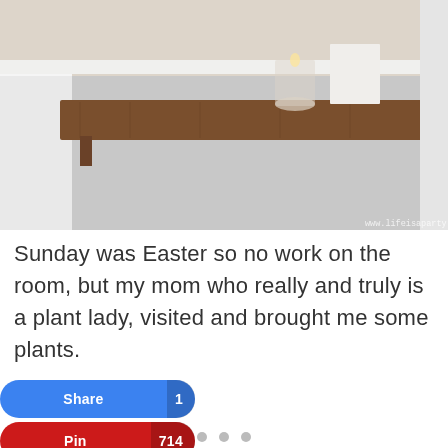[Figure (photo): A wooden bath tray/caddy spanning a white bathtub, with a glass candle holder and a white rectangular candle on top. Light background. Watermark: www.lifeisaparty.ca]
Sunday was Easter so no work on the room, but my mom who really and truly is a plant lady, visited and brought me some plants.
[Figure (photo): Placeholder/partially loaded image area with light border]
Share 1
Pin 714
Tweet